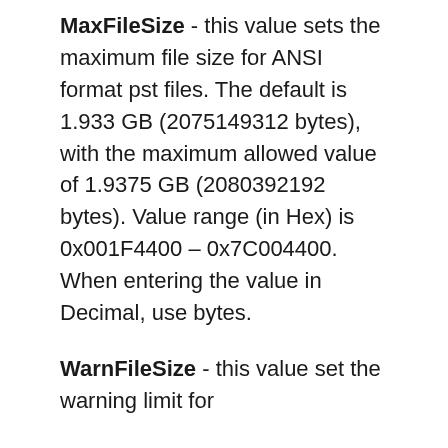MaxFileSize - this value sets the maximum file size for ANSI format pst files. The default is 1.933 GB (2075149312 bytes), with the maximum allowed value of 1.9375 GB (2080392192 bytes). Value range (in Hex) is 0x001F4400 – 0x7C004400. When entering the value in Decimal, use bytes.
WarnFileSize - this value set the warning limit for...